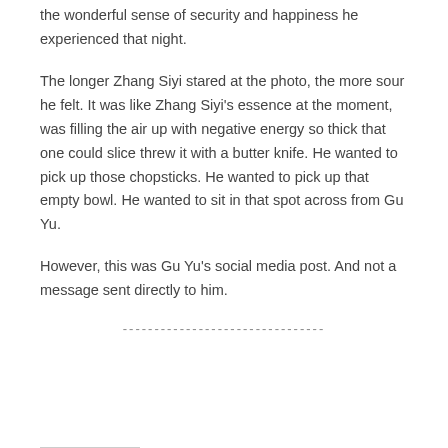the wonderful sense of security and happiness he experienced that night.
The longer Zhang Siyi stared at the photo, the more sour he felt. It was like Zhang Siyi's essence at the moment, was filling the air up with negative energy so thick that one could slice threw it with a butter knife. He wanted to pick up those chopsticks. He wanted to pick up that empty bowl. He wanted to sit in that spot across from Gu Yu.
However, this was Gu Yu's social media post. And not a message sent directly to him.
--------------------------------